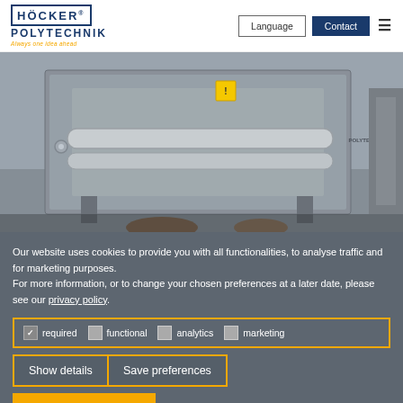[Figure (logo): Höcker Polytechnik logo with blue text and orange slogan 'Always one idea ahead']
Language
Contact
[Figure (photo): Industrial sheet metal machine / ventilation unit in gray steel casing, photographed in facility]
Our website uses cookies to provide you with all functionalities, to analyse traffic and for marketing purposes.
For more information, or to change your chosen preferences at a later date, please see our privacy policy.
required  functional  analytics  marketing
Show details
Save preferences
Accept all & save